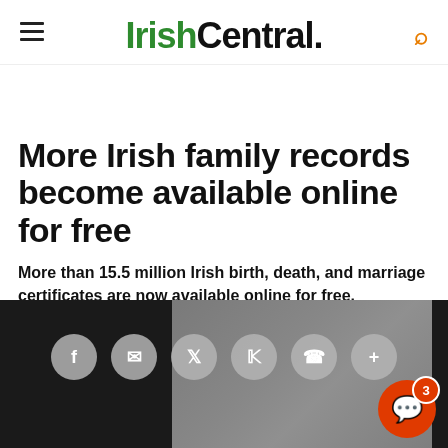IrishCentral.
More Irish family records become available online for free
More than 15.5 million Irish birth, death, and marriage certificates are now available online for free.
IrishCentral Staff @IrishCentral Jan 09, 2022
[Figure (photo): Dark background with blurred image of documents/keyboard, article hero image with social share bar overlay]